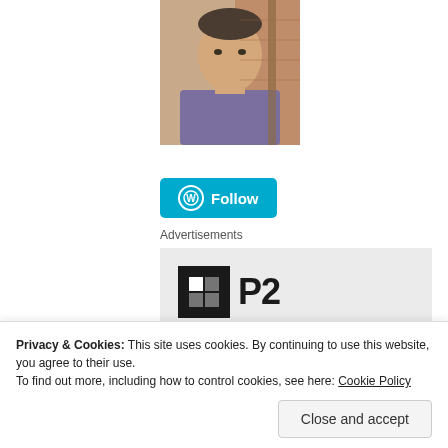[Figure (photo): Profile photo of a middle-aged man in a purple shirt standing in front of a brick wall]
[Figure (other): WordPress Follow button in teal/blue color]
Advertisements
[Figure (logo): P2 logo — black square icon with a grid-like symbol beside bold text 'P2' on a light grey background]
Getting your
Privacy & Cookies: This site uses cookies. By continuing to use this website, you agree to their use.
To find out more, including how to control cookies, see here: Cookie Policy
Close and accept